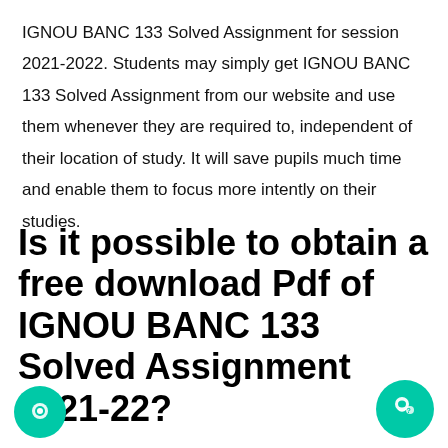IGNOU BANC 133 Solved Assignment for session 2021-2022. Students may simply get IGNOU BANC 133 Solved Assignment from our website and use them whenever they are required to, independent of their location of study. It will save pupils much time and enable them to focus more intently on their studies.
Is it possible to obtain a free download Pdf of IGNOU BANC 133 Solved Assignment 2021-22?